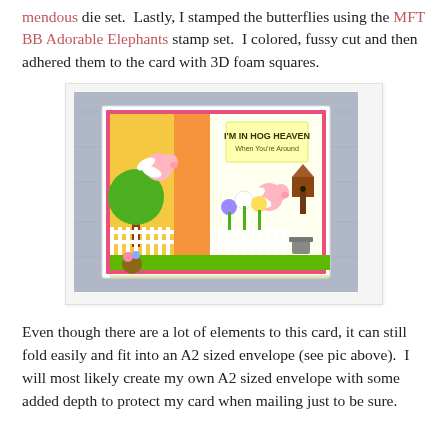mendous die set. Lastly, I stamped the butterflies using the MFT BB Adorable Elephants stamp set. I colored, fussy cut and then adhered them to the card with 3D foam squares.
[Figure (photo): A handmade greeting card featuring flying pigs with wings, flowers, a green tree, white picket fence, grass, and a birdhouse. Text on the card reads 'I'M IN HOG HEAVEN When You're Around'. The card is placed on a wooden surface.]
Even though there are a lot of elements to this card, it can still fold easily and fit into an A2 sized envelope (see pic above). I will most likely create my own A2 sized envelope with some added depth to protect my card when mailing just to be sure.